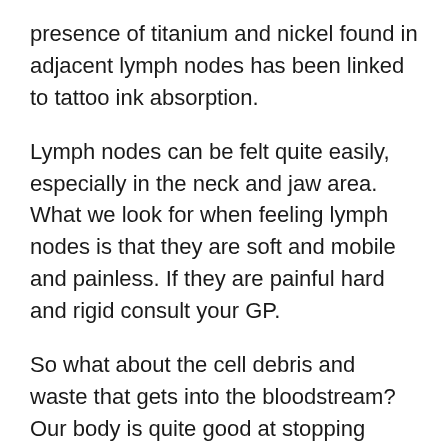presence of titanium and nickel found in adjacent lymph nodes has been linked to tattoo ink absorption.
Lymph nodes can be felt quite easily, especially in the neck and jaw area. What we look for when feeling lymph nodes is that they are soft and mobile and painless. If they are painful hard and rigid consult your GP.
So what about the cell debris and waste that gets into the bloodstream? Our body is quite good at stopping these toxic things from entering the bloodstream. But it does happen, in fact red blood cells break down in the blood and should be excreted to create room for new ones. Yes this is yet another job for a part of our lymphatic system. This is the role of the spleen. It filters our blood much like a giant lymph node, removing anything